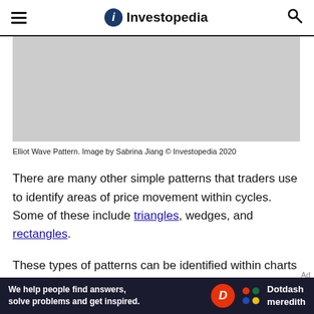Investopedia
[Figure (photo): Gray placeholder image area for Elliot Wave Pattern illustration]
Elliot Wave Pattern. Image by Sabrina Jiang © Investopedia 2020
There are many other simple patterns that traders use to identify areas of price movement within cycles. Some of these include triangles, wedges, and rectangles.
These types of patterns can be identified within charts
[Figure (infographic): Dotdash Meredith advertisement banner: 'We help people find answers, solve problems and get inspired.']